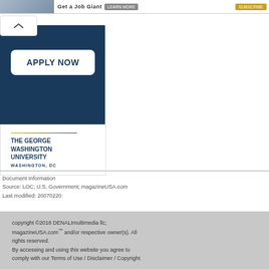[Figure (screenshot): Top website banner strip with photo thumbnail, 'Get a Job Giant' text, a button, and an orange button on the right]
[Figure (advertisement): George Washington University advertisement with dark navy background, white 'APPLY NOW' button, and GWU logo with Washington DC text]
Document Information
Source: LOC; U.S. Government; magazineUSA.com
Last modified: 20070220
copyright ©2018 DENALImultimedia llc; magazineUSA.com™ and/or respective owner(s). All rights reserved.
By accessing and using this website you agree to comply with our Terms of Use / Disclaimer / Copyright